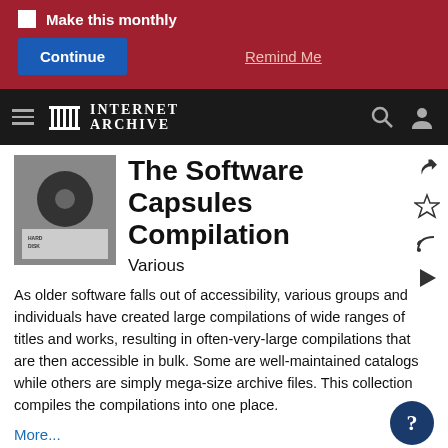Make this monthly
Continue
Remind Me
INTERNET ARCHIVE
The Software Capsules Compilation
Various
As older software falls out of accessibility, various groups and individuals have created large compilations of wide ranges of titles and works, resulting in often-very-large compilations that are then accessible in bulk. Some are well-maintained catalogs while others are simply mega-size archive files. This collection compiles the compilations into one place.
More...
ABOUT
COLLECTION